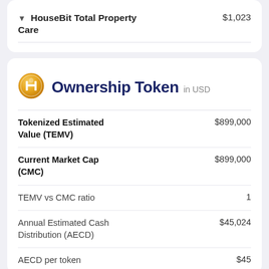| Label | Value |
| --- | --- |
| ▼ HouseBit Total Property Care | $1,023 |
[Figure (logo): Gold circular HouseBit token icon with H emblem]
Ownership Token in USD
| Label | Value |
| --- | --- |
| Tokenized Estimated Value (TEMV) | $899,000 |
| Current Market Cap (CMC) | $899,000 |
| TEMV vs CMC ratio | 1 |
| Annual Estimated Cash Distribution (AECD) | $45,024 |
| AECD per token | $45 |